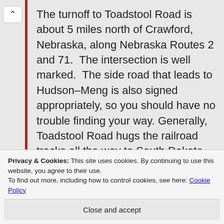The turnoff to Toadstool Road is about 5 miles north of Crawford, Nebraska, along Nebraska Routes 2 and 71.  The intersection is well marked.  The side road that leads to Hudson-Meng is also signed appropriately, so you should have no trouble finding your way.  Generally, Toadstool Road hugs the railroad tracks all the way to South Dakota, so it's hard to get lost.
Privacy & Cookies: This site uses cookies. By continuing to use this website, you agree to their use.
To find out more, including how to control cookies, see here: Cookie Policy
Close and accept